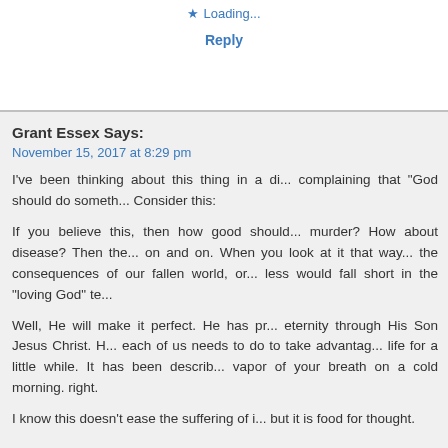Loading...
Reply
Grant Essex Says:
November 15, 2017 at 8:29 pm
I've been thinking about this thing in a di... complaining that "God should do someth... Consider this:
If you believe this, then how good should... murder? How about disease? Then the... on and on. When you look at it that way... the consequences of our fallen world, or... less would fall short in the "loving God" te...
Well, He will make it perfect. He has pr... eternity through His Son Jesus Christ. H... each of us needs to do to take advantag... life for a little while. It has been describ... vapor of your breath on a cold morning. right.
I know this doesn't ease the suffering of i... but it is food for thought.